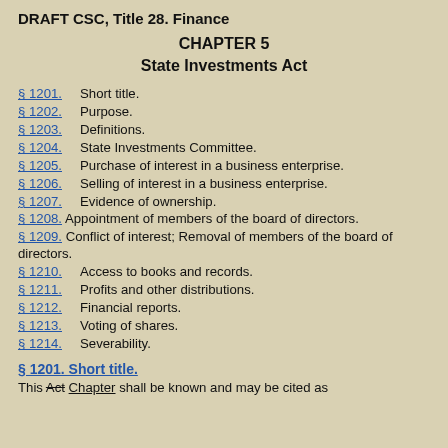DRAFT CSC, Title 28.  Finance
CHAPTER 5
State Investments Act
§ 1201.  Short title.
§ 1202.  Purpose.
§ 1203.  Definitions.
§ 1204.  State Investments Committee.
§ 1205.  Purchase of interest in a business enterprise.
§ 1206.  Selling of interest in a business enterprise.
§ 1207.  Evidence of ownership.
§ 1208.  Appointment of members of the board of directors.
§ 1209.  Conflict of interest; Removal of members of the board of directors.
§ 1210.  Access to books and records.
§ 1211.  Profits and other distributions.
§ 1212.  Financial reports.
§ 1213.  Voting of shares.
§ 1214.  Severability.
§ 1201.  Short title.
This Act Chapter shall be known and may be cited as